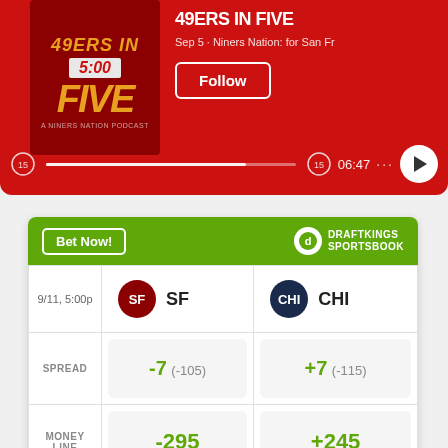[Figure (screenshot): Podcast player card with red background showing '49ers in Five' podcast. Shows episode date Sep 5, Niners Nation: for San Fr. Has Follow button, progress bar, time 06:47, and play button.]
[Figure (screenshot): DraftKings Sportsbook betting widget showing SF vs CHI game on 9/11, 5:00p. Spread: SF -7 (-105), CHI +7 (-115). Money Line: SF -295, CHI +245. Over: > 41.5 (-105).]